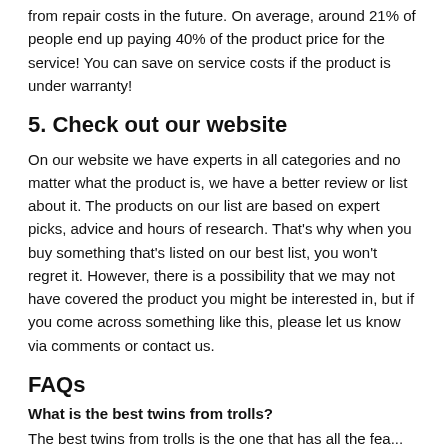from repair costs in the future. On average, around 21% of people end up paying 40% of the product price for the service! You can save on service costs if the product is under warranty!
5. Check out our website
On our website we have experts in all categories and no matter what the product is, we have a better review or list about it. The products on our list are based on expert picks, advice and hours of research. That's why when you buy something that's listed on our best list, you won't regret it. However, there is a possibility that we may not have covered the product you might be interested in, but if you come across something like this, please let us know via comments or contact us.
FAQs
What is the best twins from trolls?
The best twins from trolls is the one that has all the fea...